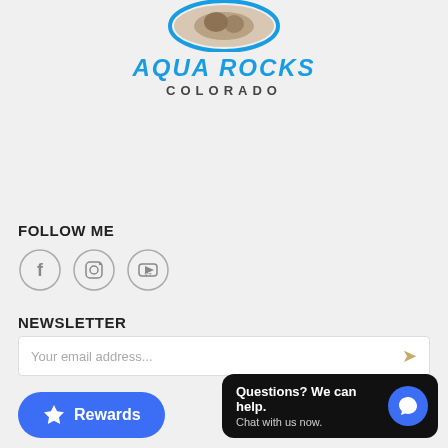[Figure (logo): Aqua Rocks Colorado logo with circular image of rock and blue arc, with text AQUA ROCKS in bold italic blue and COLORADO in dark gray below]
FOLLOW ME
[Figure (infographic): Three social media icons in circles: Facebook, Instagram, YouTube]
NEWSLETTER
Your email address...
Rewards
Questions? We can help. Chat with us now.